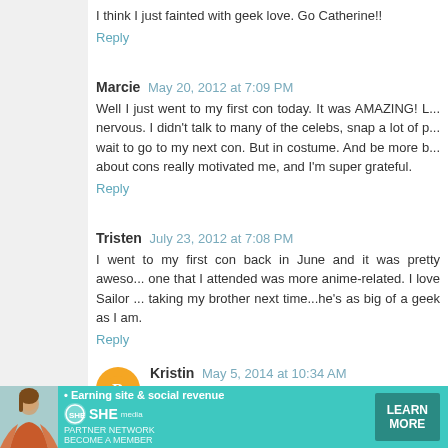I think I just fainted with geek love. Go Catherine!!
Reply
Marcie  May 20, 2012 at 7:09 PM
Well I just went to my first con today. It was AMAZING! L... nervous. I didn't talk to many of the celebs, snap a lot of p... wait to go to my next con. But in costume. And be more b... about cons really motivated me, and I'm super grateful.
Reply
Tristen  July 23, 2012 at 7:08 PM
I went to my first con back in June and it was pretty aweso... one that I attended was more anime-related. I love Sailor ... taking my brother next time...he's as big of a geek as I am.
Reply
Kristin  May 5, 2014 at 10:34 AM
I'm going to my first Dallas Comic Con in 2 weeks alo... nervous but more excited to do all the things I want...
[Figure (infographic): Advertisement banner for SHE media partner network with teal background, woman photo, bullet text 'Earning site & social revenue', SHE logo, PARTNER NETWORK text, BECOME A MEMBER text, and LEARN MORE button]